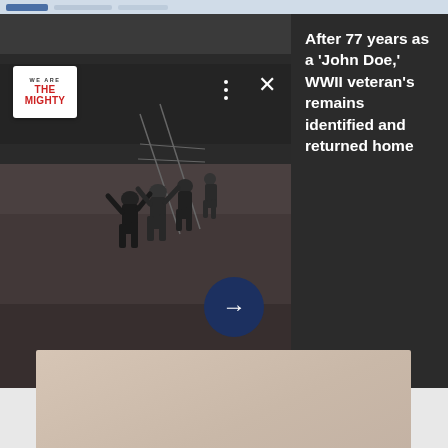[Figure (screenshot): Screenshot of a web/app overlay showing a WWII historical photo of soldiers running in a field (black and white), with a 'We Are The Mighty' logo badge, navigation icons (three dots, close X), a forward arrow button, and a dark panel on the right with article headline text. Below is a large beige/tan content area and a blue-bordered white footer section.]
After 77 years as a 'John Doe,' WWII veteran's remains identified and returned home